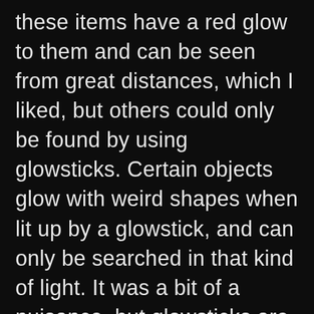these items have a red glow to them and can be seen from great distances, which I liked, but others could only be found by using glowsticks. Certain objects glow with weird shapes when lit up by a glowstick, and can only be searched in that kind of light. It was a bit of a nuisance, but glowsticks are plentiful and I rarely didn't already have one lit anyway. Still, the only in-game hint that you needed a glowstick lit to find stuff was the game telling me that glowsticks let me search deeper. I didn't